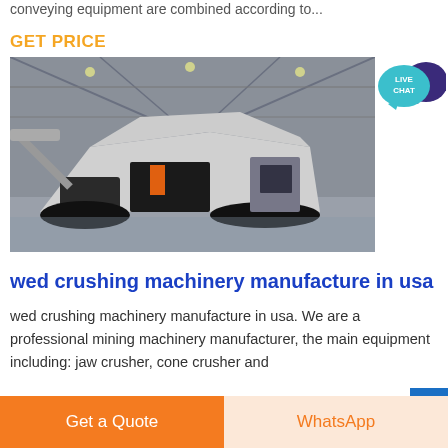conveying equipment are combined according to...
GET PRICE
[Figure (photo): Large mobile crushing machine / jaw crusher on tracked undercarriage inside an industrial warehouse hall]
[Figure (infographic): Live Chat speech bubble icon in teal/dark blue]
wed crushing machinery manufacture in usa
wed crushing machinery manufacture in usa. We are a professional mining machinery manufacturer, the main equipment including: jaw crusher, cone crusher and
Get a Quote
WhatsApp